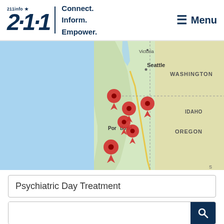[Figure (logo): 211info star logo with text '211info' and italic bold '211' numeral]
Connect. Inform. Empower.
≡ Menu
[Figure (map): Google Maps view showing Pacific Northwest (Washington, Oregon, Idaho) with 6 red location pin markers clustered around the Portland, Oregon coastal area]
Psychiatric Day Treatment